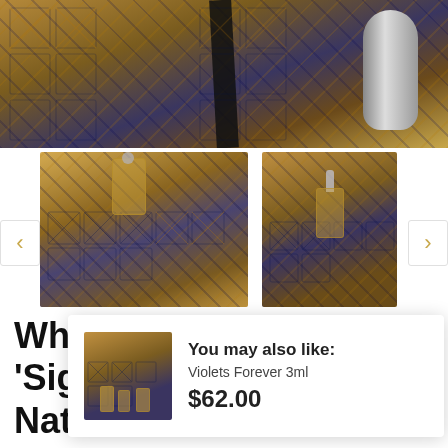[Figure (photo): Main product photo: ornate patterned perfume box with black band label 'Maphralhat' and silver cylindrical cap on right]
[Figure (photo): Thumbnail 1: perfume bottle with decorative geometric patterned box, silver cap]
[Figure (photo): Thumbnail 2: smaller perfume spray bottle with patterned box]
You may also like:
Violets Forever 3ml
$62.00
White P 'Signatu Naturel 7ml